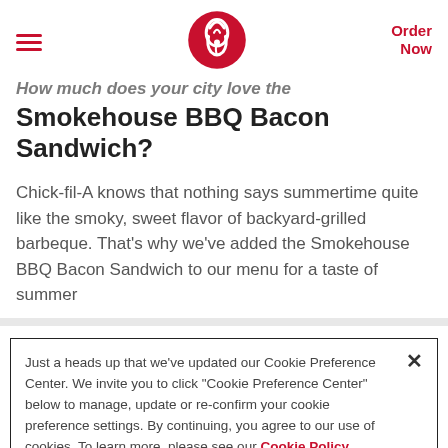≡  [Chick-fil-A logo]  Order Now
How much does your city love the Smokehouse BBQ Bacon Sandwich?
Chick-fil-A knows that nothing says summertime quite like the smoky, sweet flavor of backyard-grilled barbeque. That's why we've added the Smokehouse BBQ Bacon Sandwich to our menu for a taste of summer
Just a heads up that we've updated our Cookie Preference Center. We invite you to click "Cookie Preference Center" below to manage, update or re-confirm your cookie preference settings. By continuing, you agree to our use of cookies. To learn more, please see our Cookie Policy
Cookie Preference Center | Accept Cookies